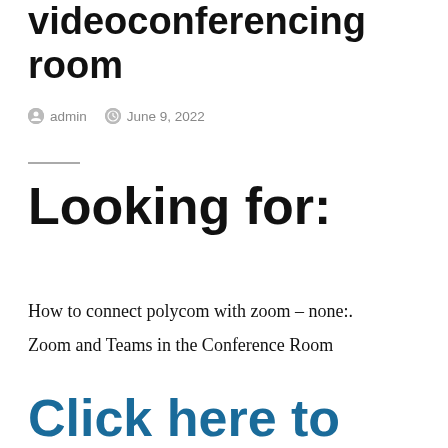videoconferencing room
admin  June 9, 2022
Looking for:
How to connect polycom with zoom – none:.
Zoom and Teams in the Conference Room
Click here to